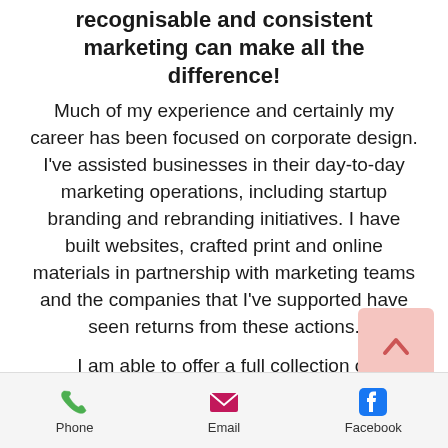recognisable and consistent marketing can make all the difference!
Much of my experience and certainly my career has been focused on corporate design. I've assisted businesses in their day-to-day marketing operations, including startup branding and rebranding initiatives. I have built websites, crafted print and online materials in partnership with marketing teams and the companies that I've supported have seen returns from these actions.
I am able to offer a full collection of
[Figure (other): Scroll-to-top button with upward arrow chevron on pink/salmon background]
Phone   Email   Facebook